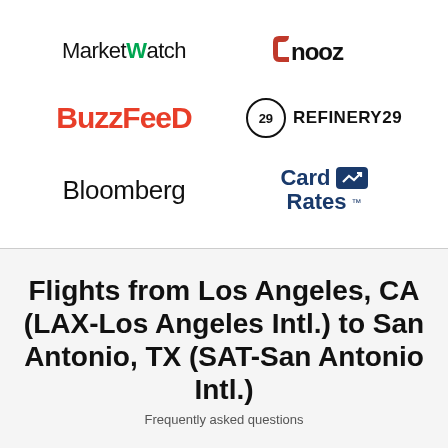[Figure (logo): MarketWatch logo]
[Figure (logo): Cnooz logo]
[Figure (logo): BuzzFeed logo]
[Figure (logo): Refinery29 logo]
[Figure (logo): Bloomberg logo]
[Figure (logo): CardRates logo]
Flights from Los Angeles, CA (LAX-Los Angeles Intl.) to San Antonio, TX (SAT-San Antonio Intl.)
Frequently asked questions